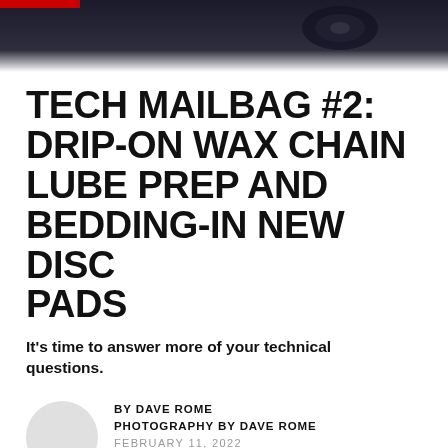[Figure (photo): Dark hero image showing a bicycle component (likely chain/drivetrain area), with a red accent bar at top left. Fades to white at the bottom.]
TECH MAILBAG #2: DRIP-ON WAX CHAIN LUBE PREP AND BEDDING-IN NEW DISC PADS
It's time to answer more of your technical questions.
BY DAVE ROME
PHOTOGRAPHY BY DAVE ROME
FEBRUARY 11, 2022
6 MINUTE READ